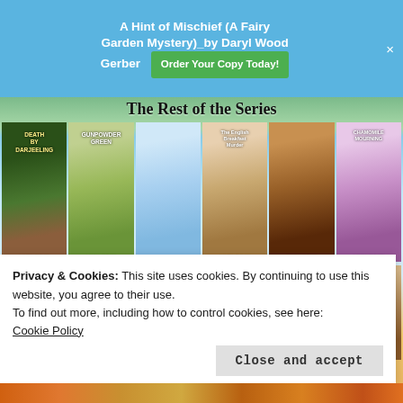A Hint of Mischief (A Fairy Garden Mystery)_by Daryl Wood Gerber   Order Your Copy Today!   ×
The Rest of the Series
[Figure (photo): Grid of book covers for a Tea Shop Mystery series by Laura Childs, showing 12 cozy mystery novel covers arranged in two rows on a beach/garden background.]
Privacy & Cookies: This site uses cookies. By continuing to use this website, you agree to their use.
To find out more, including how to control cookies, see here:
Cookie Policy
Close and accept